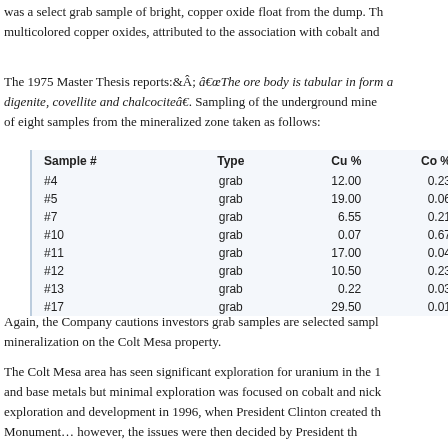was a select grab sample of bright, copper oxide float from the dump. Th multicolored copper oxides, attributed to the association with cobalt and
The 1975 Master Thesis reports:Â â€œThe ore body is tabular in form a digenite, covellite and chalcociteâ€. Sampling of the underground mine of eight samples from the mineralized zone taken as follows:
| Sample # | Type | Cu % | Co % |
| --- | --- | --- | --- |
| #4 | grab | 12.00 | 0.23 |
| #5 | grab | 19.00 | 0.06 |
| #7 | grab | 6.55 | 0.21 |
| #10 | grab | 0.07 | 0.67 |
| #11 | grab | 17.00 | 0.04 |
| #12 | grab | 10.50 | 0.23 |
| #13 | grab | 0.22 | 0.03 |
| #17 | grab | 29.50 | 0.01 |
Again, the Company cautions investors grab samples are selected sampl mineralization on the Colt Mesa property.
The Colt Mesa area has seen significant exploration for uranium in the 1 and base metals but minimal exploration was focused on cobalt and nick exploration and development in 1996, when President Clinton created th Monumentâ€¦ however, the issues were then decided by President th